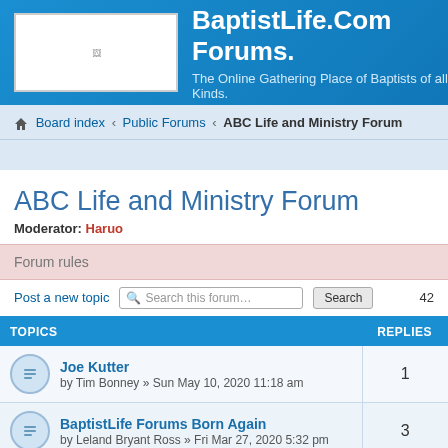BaptistLife.Com Forums. The Online Gathering Place of Baptists of all Kinds.
Board index ‹ Public Forums ‹ ABC Life and Ministry Forum
ABC Life and Ministry Forum
Moderator: Haruo
Forum rules
Post a new topic
| TOPICS | REPLIES |
| --- | --- |
| Joe Kutter
by Tim Bonney » Sun May 10, 2020 11:18 am | 1 |
| BaptistLife Forums Born Again
by Leland Bryant Ross » Fri Mar 27, 2020 5:32 pm | 3 |
| Business Meeting
by Haruo » Sun Nov 17, 2019 9:33 pm | 1 |